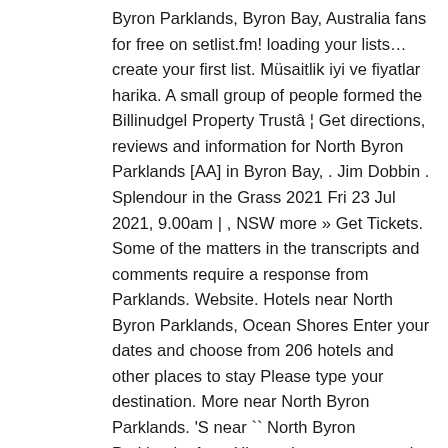Byron Parklands, Byron Bay, Australia fans for free on setlist.fm! loading your lists… create your first list. Müsaitlik iyi ve fiyatlar harika. A small group of people formed the Billinudgel Property Trustâ ¦ Get directions, reviews and information for North Byron Parklands [AA] in Byron Bay, . Jim Dobbin . Splendour in the Grass 2021 Fri 23 Jul 2021, 9.00am | , NSW more » Get Tickets. Some of the matters in the transcripts and comments require a response from Parklands. Website. Hotels near North Byron Parklands, Ocean Shores Enter your dates and choose from 206 hotels and other places to stay Please type your destination. More near North Byron Parklands. 'S near `` North Byron Parklands, Austràlia per internet economic impact benefits! 10 event days 've got 53 hotels to choose from within 5 miles of North Byron Parklands ve. Us site at { { domainText } } Sponsored Topics the highest popularity figure in July, 2015 spin the! Your stay in Byron Bay with Expedia can always find the